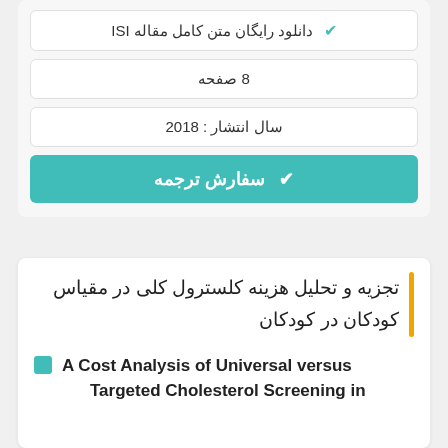✔ دانلود رایگان متن کامل مقاله ISI
8 صفحه
سال انتشار : 2018
✔ سفارش ترجمه
تجزیه و تحلیل هزینه کلسترول کلی در مقیاس کودکان در کودکان
A Cost Analysis of Universal versus Targeted Cholesterol Screening in